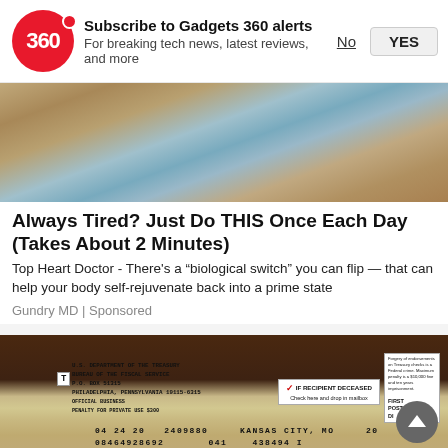[Figure (screenshot): Gadgets 360 notification subscription prompt with red 360 logo, title 'Subscribe to Gadgets 360 alerts', subtitle 'For breaking tech news, latest reviews, and more', and No/YES buttons]
[Figure (photo): Close-up of hands wearing gray suit jacket working on a layered geological/craft cross-section model showing brown sandy top layer and blue cracked layer beneath]
Always Tired? Just Do THIS Once Each Day (Takes About 2 Minutes)
Top Heart Doctor - There's a "biological switch" you can flip — that can help your body self-rejuvenate back into a prime state
Gundry MD | Sponsored
[Figure (photo): US Treasury check from Bureau of the Fiscal Service, P.O. Box 51315, Philadelphia, Pennsylvania 19115-6315, with text 'IF RECIPIENT DECEASED Check here and drop in mailbox', numbers 04 24 20 2409880, KANSAS CITY MO, 08464928692, 041, 438494 I, 20]